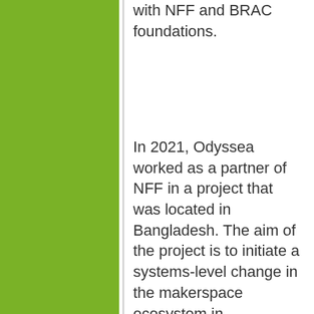with NFF and BRAC foundations.
In 2021, Odyssea worked as a partner of NFF in a project that was located in Bangladesh. The aim of the project is to initiate a systems-level change in the makerspace ecosystem in Bangladesh by on boarding makerspaces scattered across the country onto a common, easily accessible, and